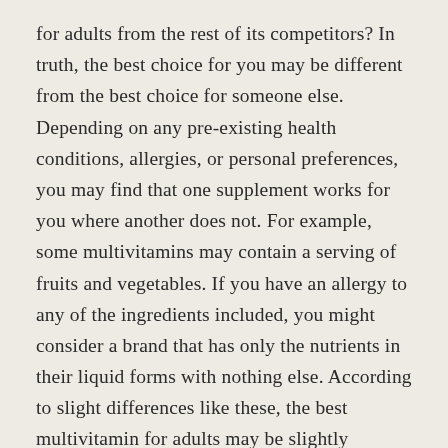for adults from the rest of its competitors? In truth, the best choice for you may be different from the best choice for someone else. Depending on any pre-existing health conditions, allergies, or personal preferences, you may find that one supplement works for you where another does not. For example, some multivitamins may contain a serving of fruits and vegetables. If you have an allergy to any of the ingredients included, you might consider a brand that has only the nutrients in their liquid forms with nothing else. According to slight differences like these, the best multivitamin for adults may be slightly different from person to person.
However, one thing remains the same, which is that ingredients should always be your first priority when assessing supplements. Any multivitamin that claims to